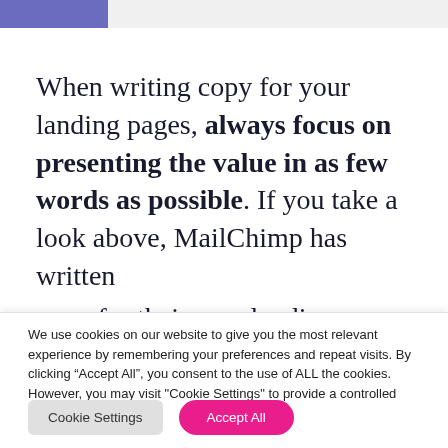When writing copy for your landing pages, always focus on presenting the value in as few words as possible. If you take a look above, MailChimp has written
We use cookies on our website to give you the most relevant experience by remembering your preferences and repeat visits. By clicking “Accept All”, you consent to the use of ALL the cookies. However, you may visit "Cookie Settings" to provide a controlled consent.
Cookie Settings   Accept All